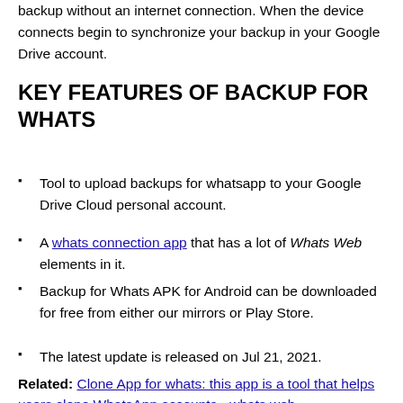backup without an internet connection. When the device connects begin to synchronize your backup in your Google Drive account.
KEY FEATURES OF BACKUP FOR WHATS
Tool to upload backups for whatsapp to your Google Drive Cloud personal account.
A whats connection app that has a lot of Whats Web elements in it.
Backup for Whats APK for Android can be downloaded for free from either our mirrors or Play Store.
The latest update is released on Jul 21, 2021.
Related: Clone App for whats: this app is a tool that helps users clone WhatsApp accounts - whats web